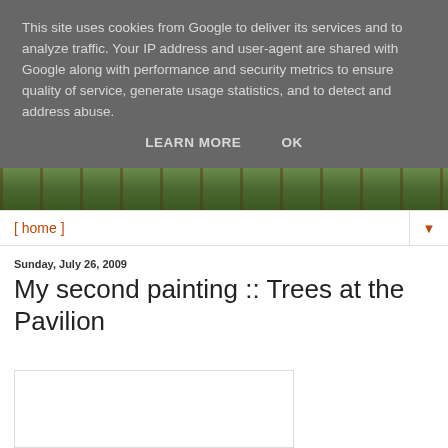This site uses cookies from Google to deliver its services and to analyze traffic. Your IP address and user-agent are shared with Google along with performance and security metrics to ensure quality of service, generate usage statistics, and to detect and address abuse.
LEARN MORE   OK
[Figure (photo): Header banner photo of trees and pavilion structures, green foliage]
[ home ]
▼
Sunday, July 26, 2009
My second painting :: Trees at the Pavilion
[Figure (photo): White/blank image area representing a painting photo not fully loaded]